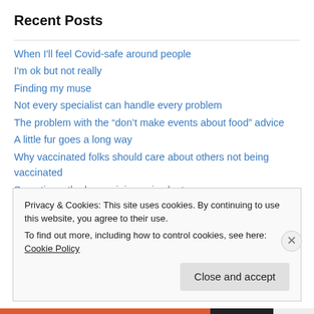Recent Posts
When I'll feel Covid-safe around people
I'm ok but not really
Finding my muse
Not every specialist can handle every problem
The problem with the “don’t make events about food” advice
A little fur goes a long way
Why vaccinated folks should care about others not being vaccinated
Sometimes the bare minimum is plenty
Choosing an arm: a simple decision?
Update on the trip dilemma
Privacy & Cookies: This site uses cookies. By continuing to use this website, you agree to their use. To find out more, including how to control cookies, see here: Cookie Policy
Close and accept